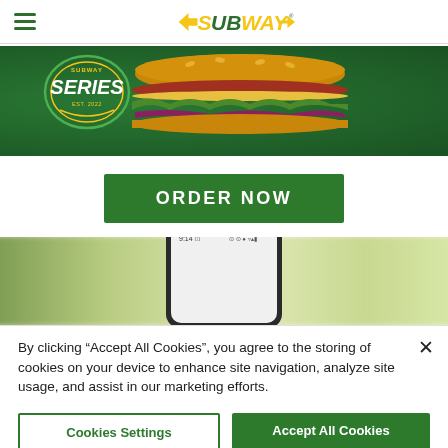SUBWAY
[Figure (photo): Subway Series promotional banner with sandwich image on dark green background]
ORDER NOW
[Figure (photo): Smartphone device showing Subway app, displayed against blurred outdoor background]
By clicking "Accept All Cookies", you agree to the storing of cookies on your device to enhance site navigation, analyze site usage, and assist in our marketing efforts.
Cookies Settings
Accept All Cookies